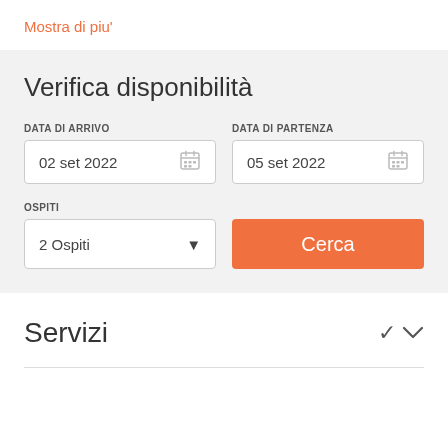Mostra di piu'
Verifica disponibilità
DATA DI ARRIVO
02 set 2022
DATA DI PARTENZA
05 set 2022
OSPITI
2 Ospiti
Cerca
Servizi